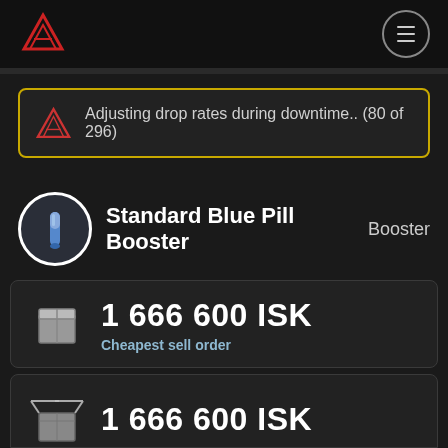Standard Blue Pill Booster app header with logo and menu
Adjusting drop rates during downtime.. (80 of 296)
Standard Blue Pill Booster  Booster
1 666 600 ISK
Cheapest sell order
1 666 600 ISK